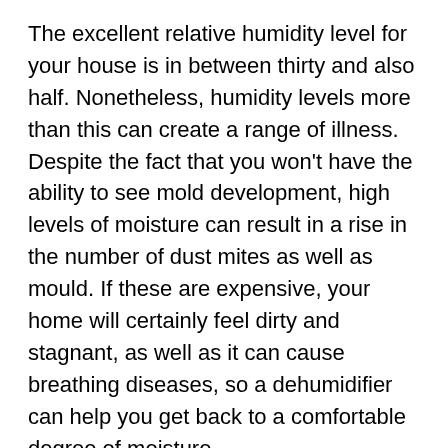The excellent relative humidity level for your house is in between thirty and also half. Nonetheless, humidity levels more than this can create a range of illness. Despite the fact that you won't have the ability to see mold development, high levels of moisture can result in a rise in the number of dust mites as well as mould. If these are expensive, your home will certainly feel dirty and stagnant, as well as it can cause breathing diseases, so a dehumidifier can help you get back to a comfortable degree of moisture.
When choosing a dehumidifier, consider how much water it can eliminate in a day. Many devices have a water container and a warning light to allow you understand when the water level is full. Some versions even have a tube connection. It will certainly likewise be beneficial to select an Energy Star-certified version. The Power Star